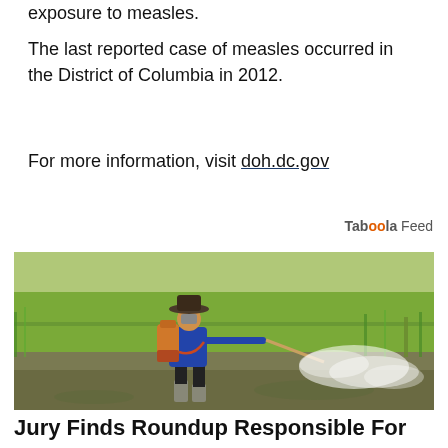exposure to measles.
The last reported case of measles occurred in the District of Columbia in 2012.
For more information, visit doh.dc.gov
[Figure (photo): A farmer wearing a wide-brimmed hat and blue long-sleeve shirt carrying a motorized pesticide sprayer on his back, walking through a green rice paddy field and spraying chemicals. White mist is visible being sprayed across the muddy field.]
Jury Finds Roundup Responsible For